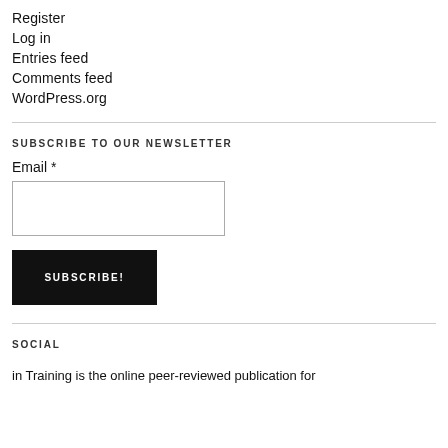Register
Log in
Entries feed
Comments feed
WordPress.org
SUBSCRIBE TO OUR NEWSLETTER
Email *
SOCIAL
in Training is the online peer-reviewed publication for